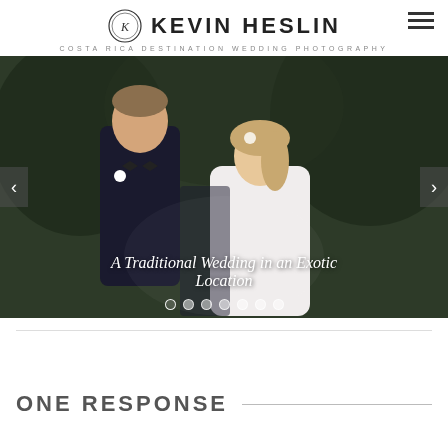KEVIN HESLIN — COSTA RICA DESTINATION WEDDING PHOTOGRAPHY
[Figure (photo): Wedding photo slideshow showing a couple in formal wear — groom in black tuxedo with boutonniere, bride in white gown — posed outdoors in front of dark foliage background. Overlay text reads 'A Traditional Wedding in an Exotic Location'. Navigation arrows on left and right. Dot indicators at bottom showing 7 slides.]
A Traditional Wedding in an Exotic Location
ONE RESPONSE